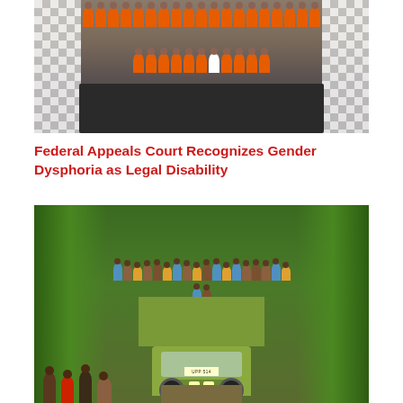[Figure (photo): Aerial view of a group of people wearing orange uniforms/jumpsuits standing on a dark floor mat surrounded by a black and white checkerboard floor]
Federal Appeals Court Recognizes Gender Dysphoria as Legal Disability
[Figure (photo): A large group of people riding on top of a green flatbed truck (license plate UPP 514) driving through a road flanked by banana trees and dense tropical vegetation]